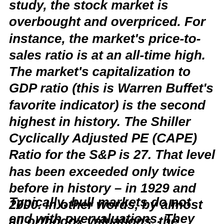study, the stock market is overbought and overpriced. For instance, the market's price-to-sales ratio is at an all-time high. The market's capitalization to GDP ratio (this is Warren Buffet's favorite indicator) is the second highest in history. The Shiller Cyclically Adjusted PE (CAPE) Ratio for the S&P is 27. That level has been exceeded only twice before in history – in 1929 and 2000. In other words, by almost all orthodox valuations, the current market is dangerously overvalued and way overdue for a correction or a bear market. This is the orthodox way of looking at this market.
Typically, bull markets do not end with overvaluations. They end with emotional